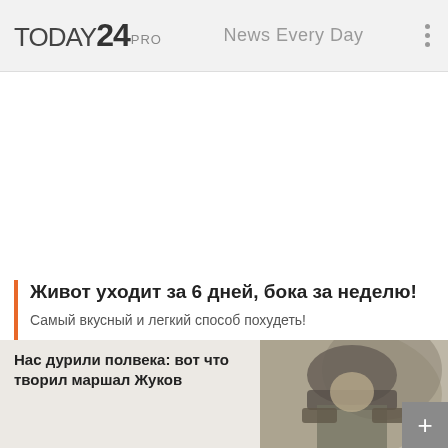TODAY24 PRO   News Every Day
Живот уходит за 6 дней, бока за неделю!
Самый вкусный и легкий способ похудеть!
Подробнее
[Figure (photo): Grayscale/sepia photograph of a military figure, partially visible]
Нас дурили полвека: вот что творил маршал Жуков